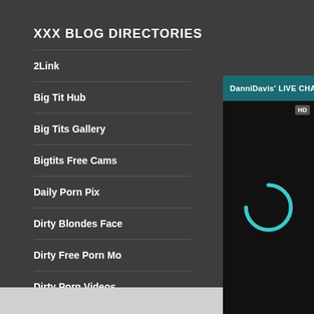XXX BLOG DIRECTORIES
2Link
Big Tit Hub
Big Tits Gallery
Bigtits Free Cams
Daily Porn Pix
Dirty Blondes Face
Dirty Free Porn Mo
Dirty Porn Videos
[Figure (screenshot): DanniDavis' LIVE CHAT overlay window with a teal header bar showing the title, mute and close icons, and a black video loading area with an HD badge and a teal circular loading spinner.]